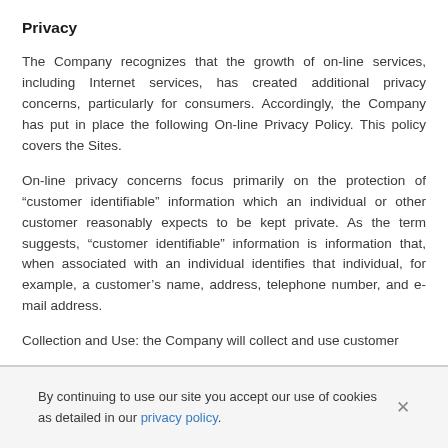Privacy
The Company recognizes that the growth of on-line services, including Internet services, has created additional privacy concerns, particularly for consumers. Accordingly, the Company has put in place the following On-line Privacy Policy. This policy covers the Sites.
On-line privacy concerns focus primarily on the protection of “customer identifiable” information which an individual or other customer reasonably expects to be kept private. As the term suggests, “customer identifiable” information is information that, when associated with an individual identifies that individual, for example, a customer’s name, address, telephone number, and e-mail address.
Collection and Use: the Company will collect and use customer
By continuing to use our site you accept our use of cookies as detailed in our privacy policy.